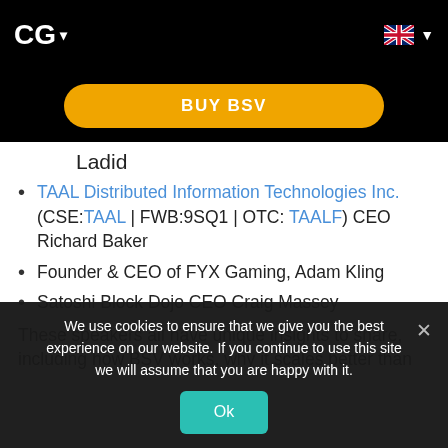CG ▾
[Figure (other): Yellow BUY BSV button on black background]
Ladid
TAAL Distributed Information Technologies Inc. (CSE:TAAL | FWB:9SQ1 | OTC: TAALF) CEO Richard Baker
Founder & CEO of FYX Gaming, Adam Kling
Satoshi Block Dojo CEO Craig Massey
These speakers all have unique insights to share, including how BSV works, why it scales better than
We use cookies to ensure that we give you the best experience on our website. If you continue to use this site we will assume that you are happy with it.